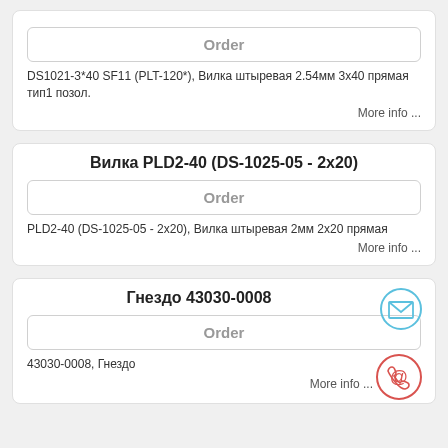Order
DS1021-3*40 SF11 (PLT-120*), Вилка штыревая 2.54мм 3х40 прямая тип1 позол.
More info ...
Вилка PLD2-40 (DS-1025-05 - 2x20)
Order
PLD2-40 (DS-1025-05 - 2x20), Вилка штыревая 2мм 2х20 прямая
More info ...
Гнездо 43030-0008
Order
43030-0008, Гнездо
More info ...